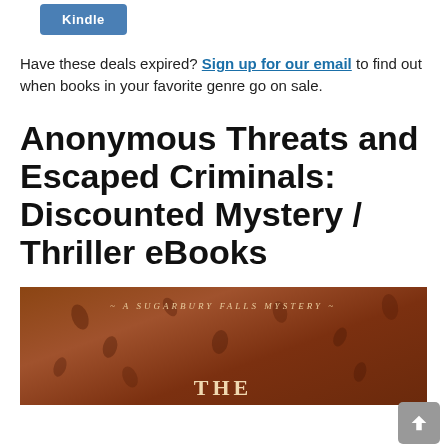[Figure (other): Blue Kindle button/badge at top of page]
Have these deals expired? Sign up for our email to find out when books in your favorite genre go on sale.
Anonymous Threats and Escaped Criminals: Discounted Mystery / Thriller eBooks
[Figure (photo): Book cover for a Sugarbury Falls Mystery novel, brown/rust colored with decorative leaves and the text '~ A Sugarbury Falls Mystery ~' and 'THE' at the bottom]